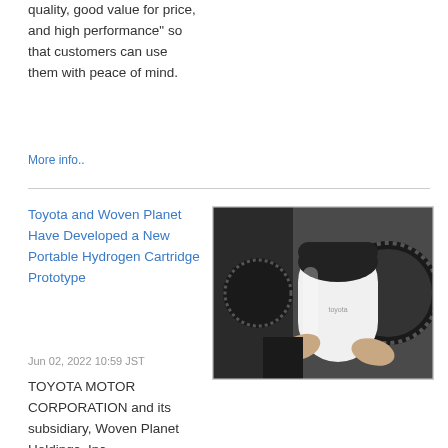quality, good value for price, and high performance" so that customers can use them with peace of mind.
More info..
Toyota and Woven Planet Have Developed a New Portable Hydrogen Cartridge Prototype
Jun 02, 2022 10:59 JST
[Figure (photo): Person inserting a white cylindrical portable hydrogen cartridge into a dark-colored device]
TOYOTA MOTOR CORPORATION and its subsidiary, Woven Planet Holdings, Inc.,